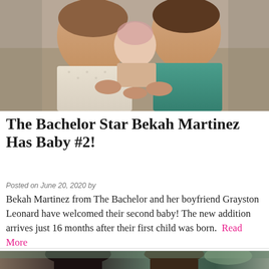[Figure (photo): A man and woman holding a baby together, close-up portrait photo]
The Bachelor Star Bekah Martinez Has Baby #2!
Posted on June 20, 2020 by
Bekah Martinez from The Bachelor and her boyfriend Grayston Leonard have welcomed their second baby! The new addition arrives just 16 months after their first child was born. Read More
[Figure (photo): Two people outdoors, partial view at bottom of page]